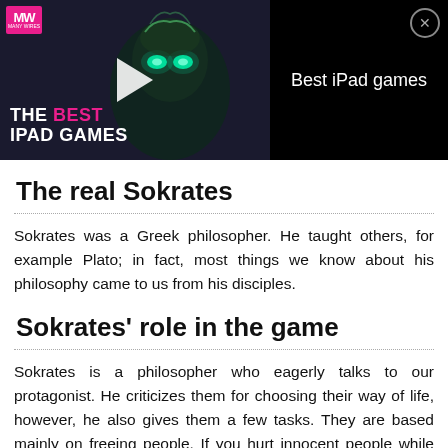[Figure (screenshot): Advertisement banner for 'The Best iPad Games' from ManyWireless (MW) website. Shows a game character with glowing eyes on a dark background, play button overlay, pink and white text reading 'THE BEST IPAD GAMES', and right panel with text 'Best iPad games' and a close (X) button.]
The real Sokrates
Sokrates was a Greek philosopher. He taught others, for example Plato; in fact, most things we know about his philosophy came to us from his disciples.
Sokrates' role in the game
Sokrates is a philosopher who eagerly talks to our protagonist. He criticizes them for choosing their way of life, however, he also gives them a few tasks. They are based mainly on freeing people. If you hurt innocent people while performing tasks for him, he won't say a bad